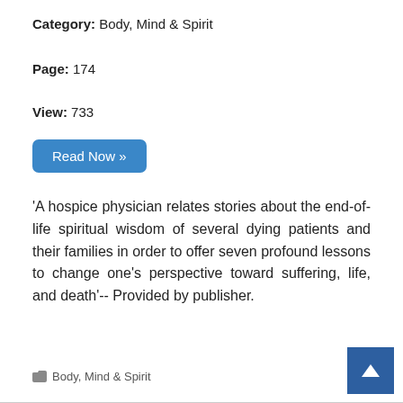Category: Body, Mind & Spirit
Page: 174
View: 733
Read Now »
'A hospice physician relates stories about the end-of-life spiritual wisdom of several dying patients and their families in order to offer seven profound lessons to change one's perspective toward suffering, life, and death'-- Provided by publisher.
Body, Mind & Spirit